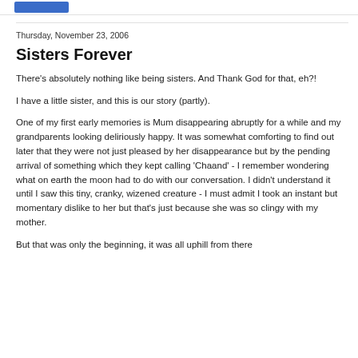Thursday, November 23, 2006
Sisters Forever
There's absolutely nothing like being sisters. And Thank God for that, eh?!
I have a little sister, and this is our story (partly).
One of my first early memories is Mum disappearing abruptly for a while and my grandparents looking deliriously happy. It was somewhat comforting to find out later that they were not just pleased by her disappearance but by the pending arrival of something which they kept calling 'Chaand' - I remember wondering what on earth the moon had to do with our conversation. I didn't understand it until I saw this tiny, cranky, wizened creature - I must admit I took an instant but momentary dislike to her but that's just because she was so clingy with my mother.
But that was only the beginning, it was all uphill from there